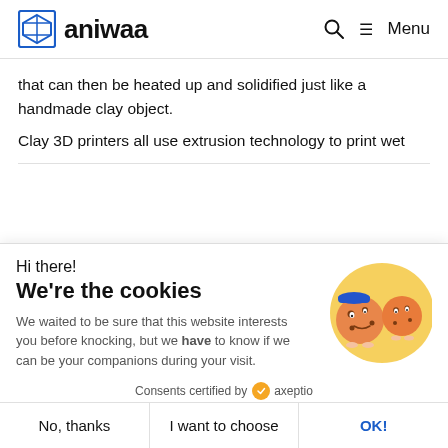aniwaa — Menu
that can then be heated up and solidified just like a handmade clay object.
Clay 3D printers all use extrusion technology to print wet
Hi there!
We're the cookies
We waited to be sure that this website interests you before knocking, but we have to know if we can be your companions during your visit.
Consents certified by axeptio
No, thanks | I want to choose | OK!